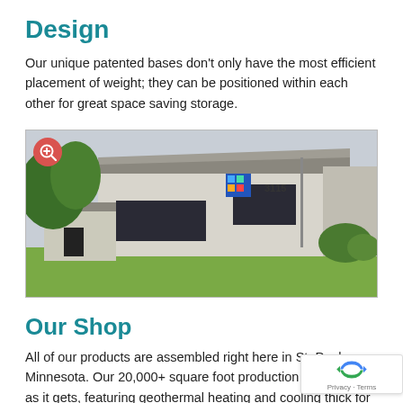Design
Our unique patented bases don't only have the most efficient placement of weight; they can be positioned within each other for great space saving storage.
[Figure (photo): Exterior photo of a white brick commercial/industrial building with green lawn, trees, and a sign showing number 3115. A zoom/magnify icon is visible in the top-left corner of the image.]
Our Shop
All of our products are assembled right here in St. Paul, Minnesota. Our 20,000+ square foot production facility green as it gets, featuring geothermal heating and cooli… thick for and it labels are as some since we around the